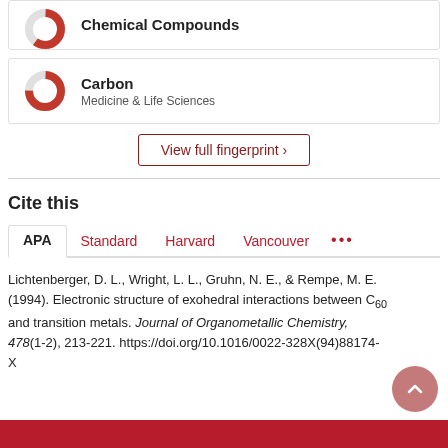[Figure (donut-chart): Partial donut chart icon for Chemical Compounds fingerprint item (top, partially cut off)]
Chemical Compounds
[Figure (donut-chart): Red and grey donut chart icon representing Carbon fingerprint item, approximately 75% fill]
Carbon
Medicine & Life Sciences
View full fingerprint ›
Cite this
APA	Standard	Harvard	Vancouver	•••
Lichtenberger, D. L., Wright, L. L., Gruhn, N. E., & Rempe, M. E. (1994). Electronic structure of exohedral interactions between C₆₀ and transition metals. Journal of Organometallic Chemistry, 478(1-2), 213-221. https://doi.org/10.1016/0022-328X(94)88174-X